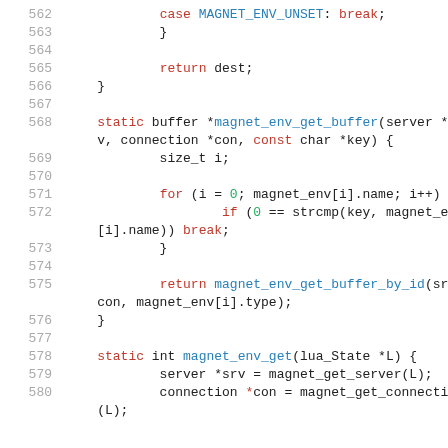[Figure (screenshot): Source code listing in C, lines 562-580, showing functions magnet_env_get_buffer and magnet_env_get with syntax highlighting (keywords in red, function names in blue, numbers in green).]